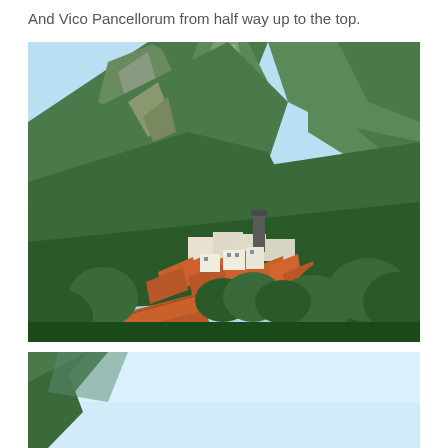And Vico Pancellorum from half way up to the top.
[Figure (photo): Aerial view of the hillside village of Vico Pancellorum with terracotta rooftops and a church tower, surrounded by dense green trees, with large green mountains rising steeply behind under a clear blue sky.]
[Figure (photo): Partial view of another mountain landscape with light blue sky and the edge of a green mountain slope visible at the bottom left, appears to be a second photograph cropped at the page bottom.]